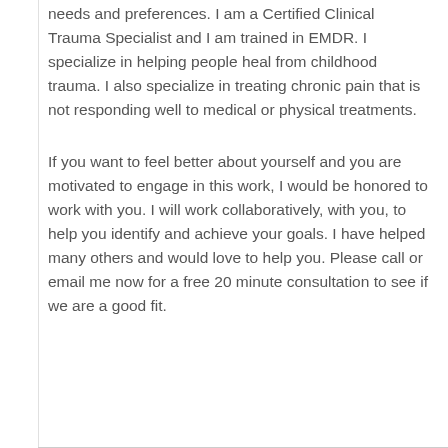needs and preferences. I am a Certified Clinical Trauma Specialist and I am trained in EMDR. I specialize in helping people heal from childhood trauma. I also specialize in treating chronic pain that is not responding well to medical or physical treatments.
If you want to feel better about yourself and you are motivated to engage in this work, I would be honored to work with you. I will work collaboratively, with you, to help you identify and achieve your goals. I have helped many others and would love to help you. Please call or email me now for a free 20 minute consultation to see if we are a good fit.